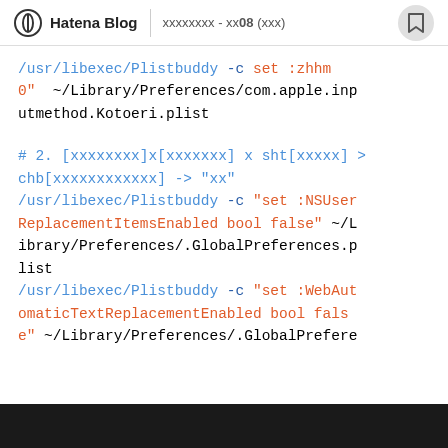Hatena Blog | xxxxxxxx - xx08 (xxx)
/usr/libexec/Plistbuddy -c "set :zhhm 0" ~/Library/Preferences/com.apple.inputmethod.Kotoeri.plist
# 2. [xxxxxxxx]x[xxxxxxx] x sht[xxxxx] > chb[xxxxxxxxxxxx] -> "xx" /usr/libexec/Plistbuddy -c "set :NSUserReplacementItemsEnabled bool false" ~/Library/Preferences/.GlobalPreferences.plist /usr/libexec/Plistbuddy -c "set :WebAutomaticTextReplacementEnabled bool fals e" ~/Library/Preferences/.GlobalPrefere